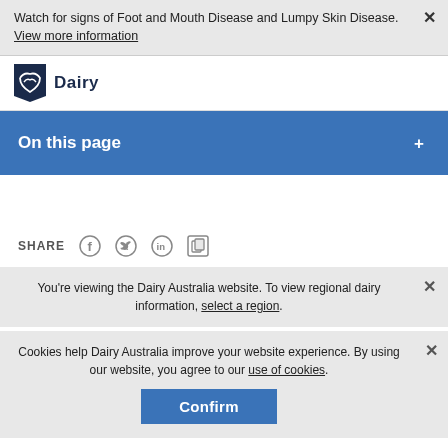Watch for signs of Foot and Mouth Disease and Lumpy Skin Disease. View more information
[Figure (logo): Dairy Australia logo with dark blue shield icon and text 'Dairy']
On this page
SHARE
You're viewing the Dairy Australia website. To view regional dairy information, select a region.
Cookies help Dairy Australia improve your website experience. By using our website, you agree to our use of cookies.
Confirm